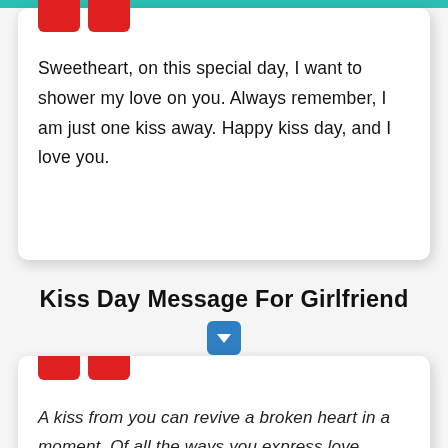Sweetheart, on this special day, I want to shower my love on you. Always remember, I am just one kiss away. Happy kiss day, and I love you.
Kiss Day Message For Girlfriend
A kiss from you can revive a broken heart in a moment. Of all the ways you express love